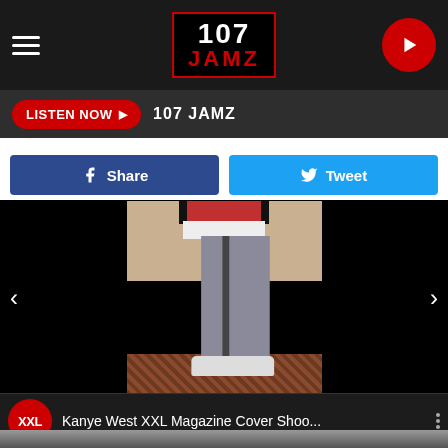107 JAMZ
LISTEN NOW ▶  107 JAMZ
Share  Tweet
[Figure (photo): Person standing showing lower body in gray sweatpants and red/black jacket with white sneakers on a patterned carpet floor]
Image 1 of 11
Kanye West XXL Magazine Cover Shoo...